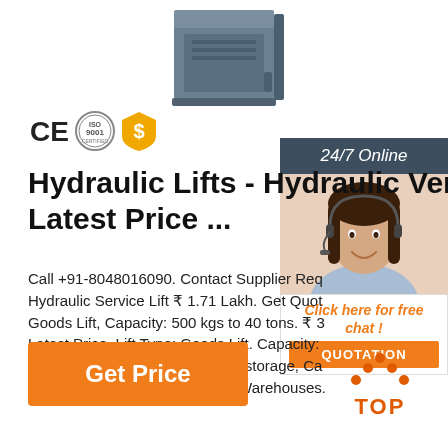[Figure (photo): Hydraulic lift / vertical goods lift product photo - grey cabinet-style machine]
[Figure (logo): CE certification mark, ISO 9001 certification badge, and a gold dollar-sign shield badge]
Hydraulic Lifts - Hydraulic Ver Latest Price ...
Call +91-8048016090. Contact Supplier Req Hydraulic Service Lift ₹ 1.71 Lakh. Get Quot Goods Lift, Capacity: 500 kgs to 40 tons. ₹ 3 Latest Price. Lift Type: Goods Lift. Capacity: tons. Application Industries: Self storage, Ca Distribution Centers, Factories, Warehouses.
[Figure (photo): Customer service representative - woman with headset smiling, 24/7 Online chat panel with Click here for free chat and QUOTATION button]
[Figure (logo): TOP navigation icon with orange dots forming an upward arrow and the text TOP]
Get Price